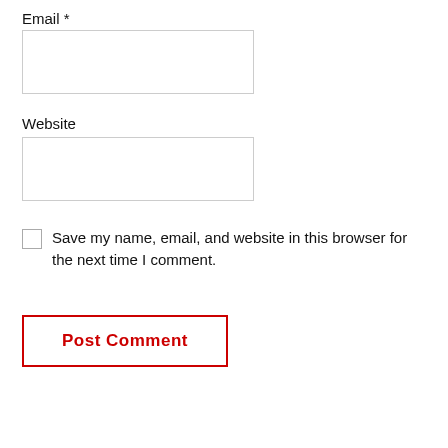Email *
[Figure (other): Empty text input box for Email field]
Website
[Figure (other): Empty text input box for Website field]
Save my name, email, and website in this browser for the next time I comment.
[Figure (other): Post Comment button with red border and red bold text]